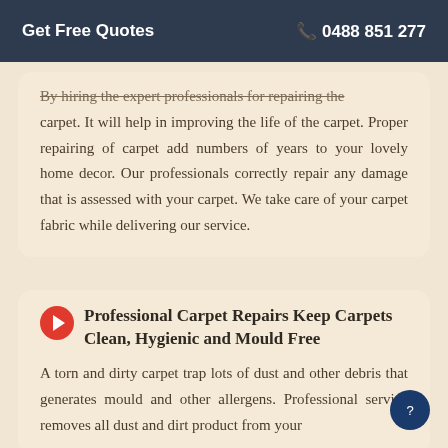Get Free Quotes  ☎ 0488 851 277
By hiring the expert professionals for repairing the carpet. It will help in improving the life of the carpet. Proper repairing of carpet add numbers of years to your lovely home decor. Our professionals correctly repair any damage that is assessed with your carpet. We take care of your carpet fabric while delivering our service.
Professional Carpet Repairs Keep Carpets Clean, Hygienic and Mould Free
A torn and dirty carpet trap lots of dust and other debris that generates mould and other allergens. Professional service removes all dust and dirt product from your